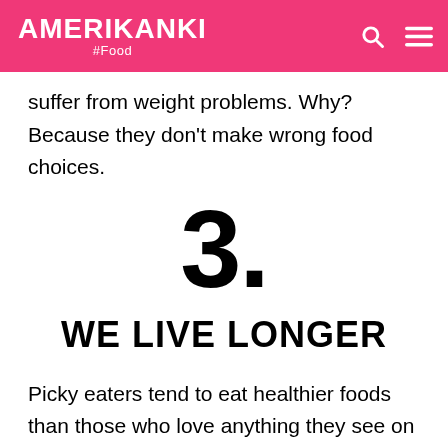AMERIKANKI #Food
suffer from weight problems. Why? Because they don't make wrong food choices.
3.
WE LIVE LONGER
Picky eaters tend to eat healthier foods than those who love anything they see on the plate. While my friend enjoys eating store-bought potato chips, ready-to-make pasta, or any other processed food, I enjoy eating an omelet with grilled zucchini and